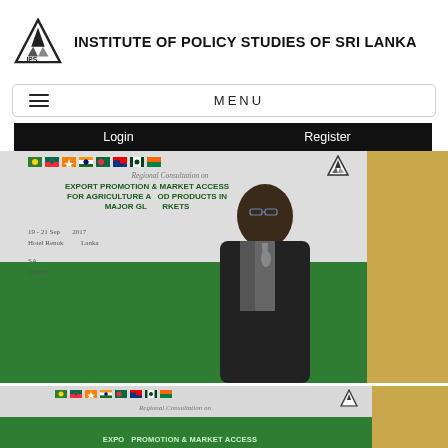[Figure (logo): IPS triangle logo with text INSTITUTE OF POLICY STUDIES OF SRI LANKA]
MENU
Login    Register
[Figure (photo): Man in suit speaking at podium at Regional Consultation on Export Promotion & Market Access for Agriculture and Food Products in Major Global Markets, 19-21 September 2017, Hotel Renuka, Sri Lanka, organized by SAARC and Institute of Policy Studies]
[Figure (photo): Second photo showing same conference banner - Regional Consultation on Export Promotion & Market Access, partially visible]